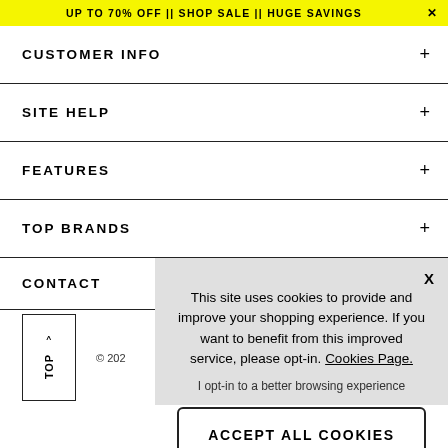UP TO 70% OFF || SHOP SALE || HUGE SAVINGS
CUSTOMER INFO
SITE HELP
FEATURES
TOP BRANDS
CONTACT
© 202
This site uses cookies to provide and improve your shopping experience. If you want to benefit from this improved service, please opt-in. Cookies Page.
I opt-in to a better browsing experience
ACCEPT ALL COOKIES